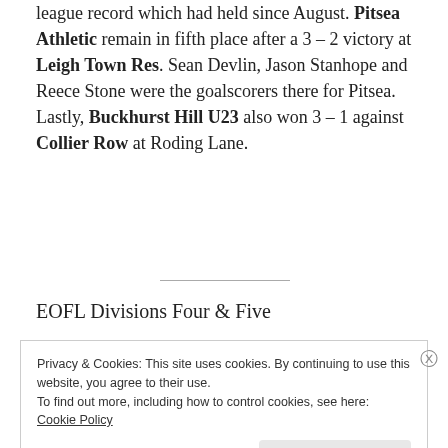league record which had held since August. Pitsea Athletic remain in fifth place after a 3 – 2 victory at Leigh Town Res. Sean Devlin, Jason Stanhope and Reece Stone were the goalscorers there for Pitsea. Lastly, Buckhurst Hill U23 also won 3 – 1 against Collier Row at Roding Lane.
EOFL Divisions Four & Five
Privacy & Cookies: This site uses cookies. By continuing to use this website, you agree to their use.
To find out more, including how to control cookies, see here:
Cookie Policy
Close and accept